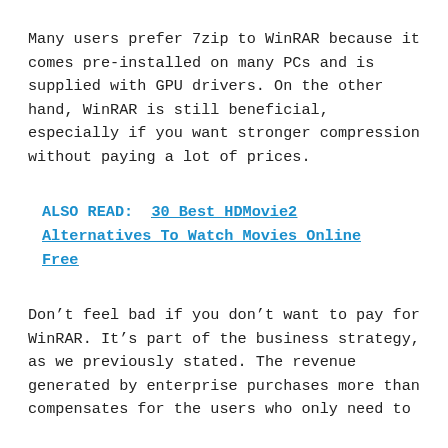Many users prefer 7zip to WinRAR because it comes pre-installed on many PCs and is supplied with GPU drivers. On the other hand, WinRAR is still beneficial, especially if you want stronger compression without paying a lot of prices.
ALSO READ:  30 Best HDMovie2 Alternatives To Watch Movies Online Free
Don't feel bad if you don't want to pay for WinRAR. It's part of the business strategy, as we previously stated. The revenue generated by enterprise purchases more than compensates for the users who only need to